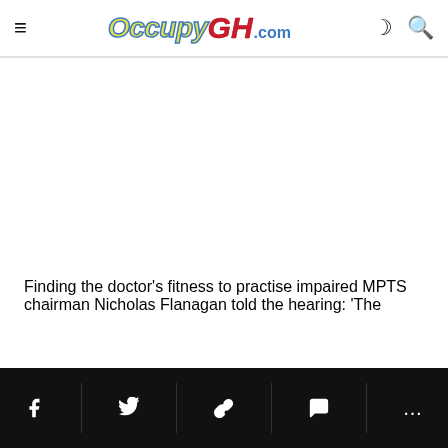OccupyGH.com
[Figure (other): Blank white advertisement or content area below the header]
Finding the doctor's fitness to practise impaired MPTS chairman Nicholas Flanagan told the hearing: 'The
Social share bar with Facebook, Twitter, link, comment, and more icons